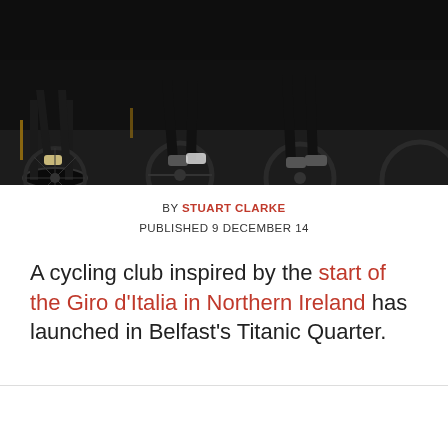[Figure (photo): Dark nighttime photo showing cyclists' legs and wheels of multiple bicycles on a road, viewed from low angle]
BY STUART CLARKE
PUBLISHED 9 DECEMBER 14
A cycling club inspired by the start of the Giro d'Italia in Northern Ireland has launched in Belfast's Titanic Quarter.